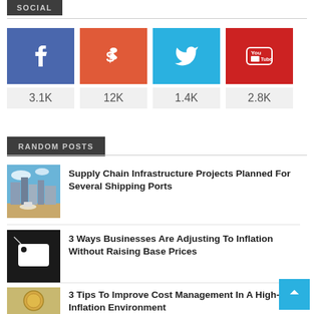SOCIAL
[Figure (infographic): Social media follower counts: Facebook 3.1K, Dollar/StumbleUpon 12K, Twitter 1.4K, YouTube 2.8K]
RANDOM POSTS
[Figure (photo): City skyline with river and boats]
Supply Chain Infrastructure Projects Planned For Several Shipping Ports
[Figure (photo): White price tag on black background]
3 Ways Businesses Are Adjusting To Inflation Without Raising Base Prices
[Figure (photo): Coin on wooden surface]
3 Tips To Improve Cost Management In A High-Inflation Environment